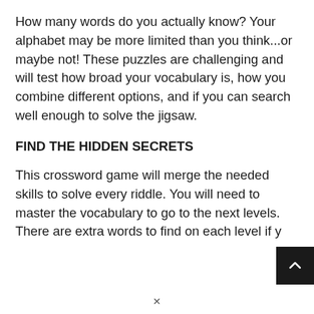How many words do you actually know? Your alphabet may be more limited than you think...or maybe not! These puzzles are challenging and will test how broad your vocabulary is, how you combine different options, and if you can search well enough to solve the jigsaw.
FIND THE HIDDEN SECRETS
This crossword game will merge the needed skills to solve every riddle. You will need to master the vocabulary to go to the next levels. There are extra words to find on each level if y